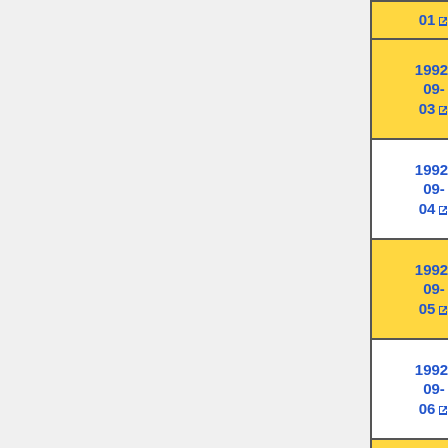| Date | Venue | Location |  |
| --- | --- | --- | --- |
| 1992-09-03 | Batschkapp | Frankfurt, DE | X |
| 1992-09-04 | Tor 3 | Düsseldorf, DE | X |
| 1992-09-05 | Paradiso | Amsterdam, NL | X |
| 1992-09-06 | Zuiderpark | Rotterdam, NL | X |
| 1992-09-06 | Nighttown | Rotterdam, NL |  |
| 1992-09- | Vooruit | Ghent, BE |  |